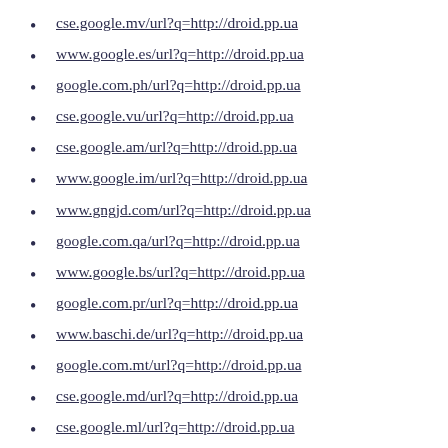cse.google.mv/url?q=http://droid.pp.ua
www.google.es/url?q=http://droid.pp.ua
google.com.ph/url?q=http://droid.pp.ua
cse.google.vu/url?q=http://droid.pp.ua
cse.google.am/url?q=http://droid.pp.ua
www.google.im/url?q=http://droid.pp.ua
www.gngjd.com/url?q=http://droid.pp.ua
google.com.qa/url?q=http://droid.pp.ua
www.google.bs/url?q=http://droid.pp.ua
google.com.pr/url?q=http://droid.pp.ua
www.baschi.de/url?q=http://droid.pp.ua
google.com.mt/url?q=http://droid.pp.ua
cse.google.md/url?q=http://droid.pp.ua
cse.google.ml/url?q=http://droid.pp.ua
cse.google.az/url?q=http://droid.pp.ua
cse.google.ci/url?q=http://droid.pp.ua
google.com.om/url?q=http://droid.pp.ua
www.google.lt/url?q=http://droid.pp.ua
google.com.py/url?q=http://droid.pp.ua